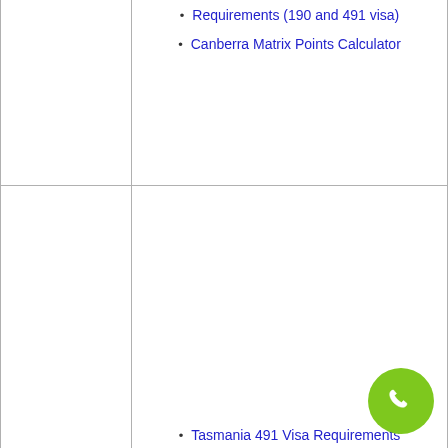| State | Links |
| --- | --- |
|  | Requirements (190 and 491 visa)
Canberra Matrix Points Calculator |
| Tasmania | Tasmania 491 Visa Requirements (2021-2022)
Tasmanian Skilled Occupations List (TSOL)
Tasmania Small Business Owner Stream – 491 visa
Tasmania Skilled Migration Nomination Requirements (2021-2022)
Tasmania 190 Visa Requirements (2021-2022) |
| Queensland | 491 visa criteria for Queensland
Queensland Skilled Occupation |
[Figure (illustration): Green circular phone/call button overlay in bottom-right corner]